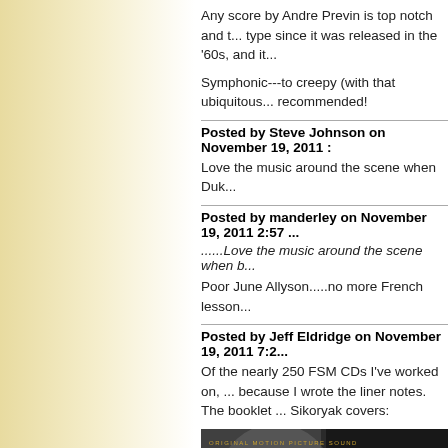Any score by Andre Previn is top notch and t... type since it was released in the '60s, and it...
Symphonic---to creepy (with that ubiquitous... recommended!
Posted by Steve Johnson on November 19, 2011 ...
Love the music around the scene when Duk...
Posted by manderley on November 19, 2011 2:57 ...
......Love the music around the scene when b...
Poor June Allyson.....no more French lesson...
Posted by Jeff Eldridge on November 19, 2011 7:2...
Of the nearly 250 FSM CDs I've worked on, ... because I wrote the liner notes. The booklet ... Sikoryak covers:
[Figure (photo): Album cover showing 'ORIGINAL MOTION PICTURE SOUND...' text at top with 'DEAD' text at bottom right, black and white photo of a person's face]